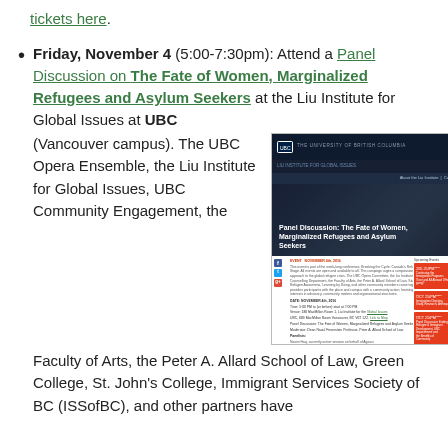tickets here.
Friday, November 4 (5:00-7:30pm): Attend a Panel Discussion on The Fate of Women, Marginalized Refugees and Asylum Seekers at the Liu Institute for Global Issues at UBC (Vancouver campus). The UBC Opera Ensemble, the Liu Institute for Global Issues, UBC Community Engagement, the Faculty of Arts, the Peter A. Allard School of Law, Green College, St. John's College, Immigrant Services Society of BC (ISSofBC), and other partners have
[Figure (screenshot): Screenshot of the Liu Institute for Global Issues UBC website showing the Panel Discussion: The Fate of Women, Marginalized Refugees and Asylum Seekers event page with event details and sidebar links.]